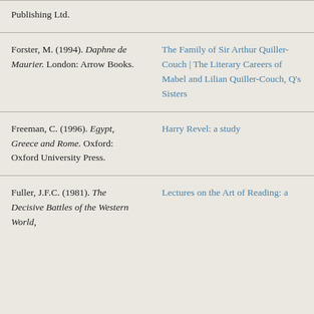| Reference | Related Work |
| --- | --- |
| Publishing Ltd. |  |
| Forster, M. (1994). Daphne de Maurier. London: Arrow Books. | The Family of Sir Arthur Quiller-Couch | The Literary Careers of Mabel and Lilian Quiller-Couch, Q's Sisters |
| Freeman, C. (1996). Egypt, Greece and Rome. Oxford: Oxford University Press. | Harry Revel: a study |
| Fuller, J.F.C. (1981). The Decisive Battles of the Western World, | Lectures on the Art of Reading: a |